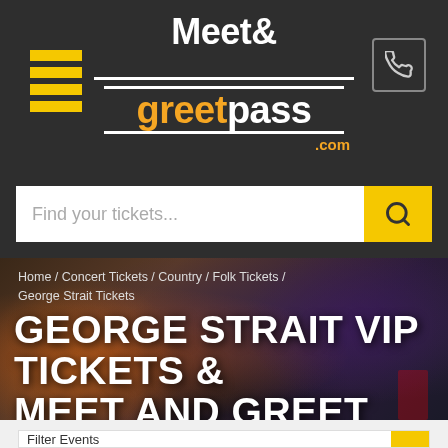[Figure (logo): Meet & GreetPass.com logo in white and orange on dark background]
Find your tickets...
Home / Concert Tickets / Country / Folk Tickets / George Strait Tickets
GEORGE STRAIT VIP TICKETS & MEET AND GREET
Filter Events